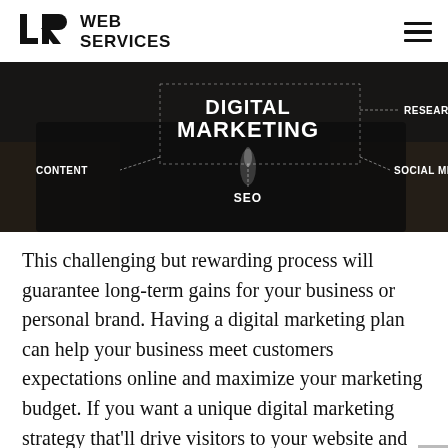[Figure (logo): LR Web Services logo with geometric LR monogram icon and bold text 'WEB SERVICES']
[Figure (photo): Dark digital marketing themed photo with glowing text overlays: DIGITAL MARKETING, RESEARCH, SOCIAL MEDIA, CONTENT, SEO — with dotted lines connecting them on a dark surface]
This challenging but rewarding process will guarantee long-term gains for your business or personal brand. Having a digital marketing plan can help your business meet customers expectations online and maximize your marketing budget. If you want a unique digital marketing strategy that'll drive visitors to your website and increase sales, contact